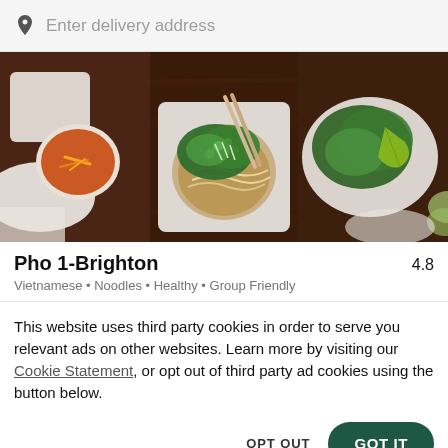Enter delivery address
[Figure (photo): Three food photos side by side showing Vietnamese dishes: a sauce dish with pickled vegetables, a pho noodle bowl with herbs and chopsticks, and a plate of fresh vegetables with lime on a dark wooden surface.]
Pho 1-Brighton
4.8
Vietnamese • Noodles • Healthy • Group Friendly
This website uses third party cookies in order to serve you relevant ads on other websites. Learn more by visiting our Cookie Statement, or opt out of third party ad cookies using the button below.